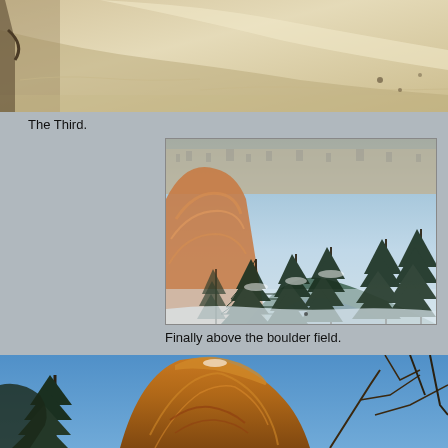[Figure (photo): Top portion of a snowy landscape photo, partially cropped at the top of the page, showing snow and sunlight shadows.]
The Third.
[Figure (photo): Winter mountain scene with snow-covered evergreen trees, red rock flatirons on the left, and a city visible in the valley below under clear sky.]
Finally above the boulder field.
[Figure (photo): Large orange-red rock formation seen from below against a blue sky, with tree branches visible on the left and right sides, partially cropped at the bottom of the page.]